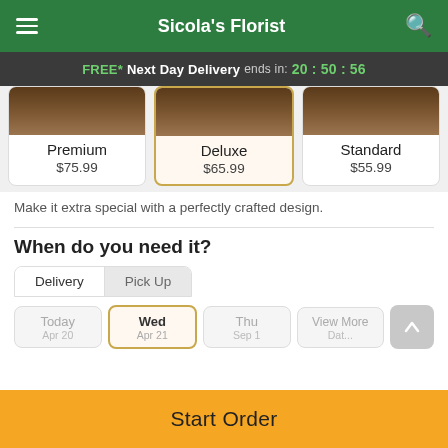Sicola's Florist
FREE* Next Day Delivery ends in: 20:50:56
[Figure (screenshot): Three product option cards: Premium $75.99, Deluxe $65.99 (selected), Standard $55.99, each with a photo of floral arrangement]
Make it extra special with a perfectly crafted design.
When do you need it?
Delivery | Pick Up tabs
Today | Wed Apr 21 (selected) | Thu | View More
Start Order